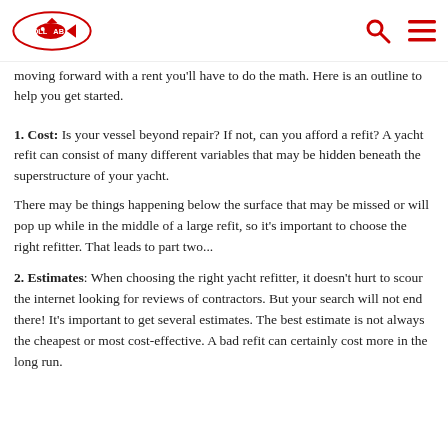Dollab logo, search icon, menu icon
moving forward with a rent you'll have to do the math. Here is an outline to help you get started.
1. Cost: Is your vessel beyond repair? If not, can you afford a refit? A yacht refit can consist of many different variables that may be hidden beneath the superstructure of your yacht.

There may be things happening below the surface that may be missed or will pop up while in the middle of a large refit, so it's important to choose the right refitter. That leads to part two...
2. Estimates: When choosing the right yacht refitter, it doesn't hurt to scour the internet looking for reviews of contractors. But your search will not end there! It's important to get several estimates. The best estimate is not always the cheapest or most cost-effective. A bad refit can certainly cost more in the long run.